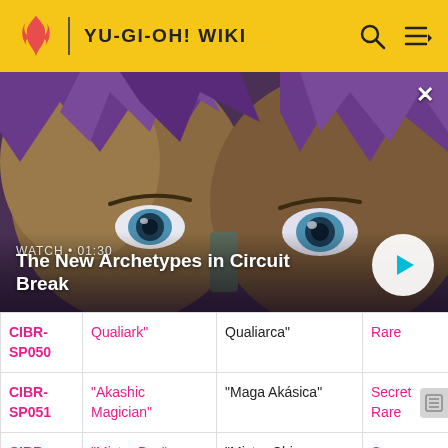YU-GI-OH! WIKI
[Figure (screenshot): Anime screenshot showing a character with purple hair and blue eyes in close-up, overlaid with video player UI showing 'WATCH • 01:30' and title 'The New Archetypes in Circuit Break' with a play button]
| Code | English Name | Spanish Name | Rarity |
| --- | --- | --- | --- |
| CIBR-SP050 | Qualiark" | Qualiarca" | Rare |
| CIBR-SP051 | "Akashic Magician" | "Maga Akásica" | Secret Rare |
| CIBR-SP052 | "Mistar Boy" | "Mistar Chico Estrella" | Common |